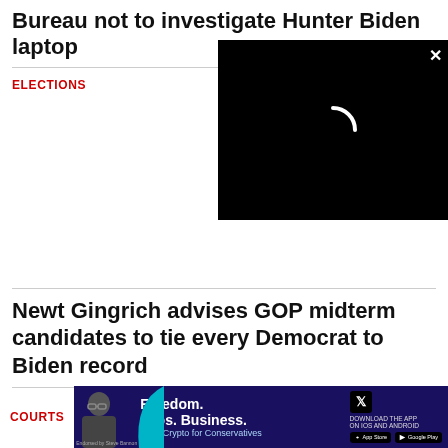Bureau not to investigate Hunter Biden laptop
ELECTIONS
[Figure (screenshot): Black video player overlay with a white loading spinner arc and a white X close button in the top right corner]
Newt Gingrich advises GOP midterm candidates to tie every Democrat to Biden record
COURTS
[Figure (photo): Advertisement banner with dark blue/purple background showing a person (man with glasses and beard) on the left, a teal decorative swish shape, bold white text reading 'Freedom. Jobs. Business.' and smaller text 'Easy Crypto for Conservatives', right side shows 'DOWNLOAD THE APP ON IOS AND ANDROID' with X logo and app store badges. Endorsed by Steve Bannon text at bottom.]